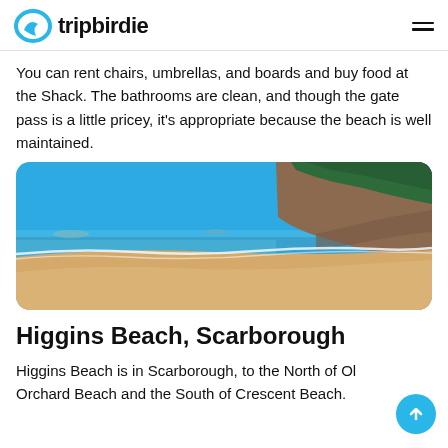tripbirdie
You can rent chairs, umbrellas, and boards and buy food at the Shack. The bathrooms are clean, and though the gate pass is a little pricey, it's appropriate because the beach is well maintained.
[Figure (photo): A scenic beach photograph showing golden sand in the foreground, calm blue ocean water in the middle, and a rocky cliff covered with evergreen trees on the right, under a clear blue sky.]
Higgins Beach, Scarborough
Higgins Beach is in Scarborough, to the North of Old Orchard Beach and the South of Crescent Beach.